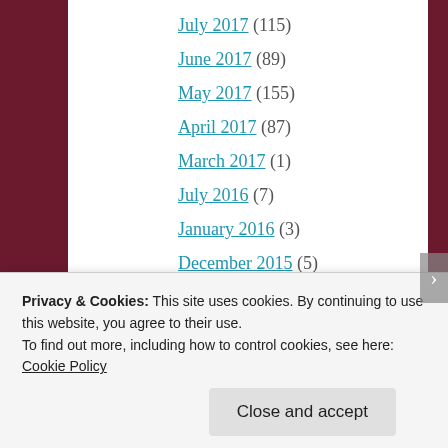July 2017 (115)
June 2017 (89)
May 2017 (155)
April 2017 (87)
March 2017 (1)
July 2016 (7)
January 2016 (3)
December 2015 (5)
November 2015 (3)
September 2015 (72)
August 2015 (46)
Privacy & Cookies: This site uses cookies. By continuing to use this website, you agree to their use.
To find out more, including how to control cookies, see here: Cookie Policy